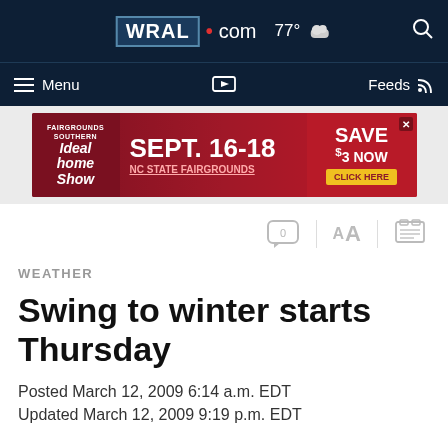WRAL.com  77°  Menu  Feeds
[Figure (screenshot): WRAL.com top navigation bar with logo, temperature 77°, cloud icon, hamburger menu, camera icon, Feeds with RSS icon, and search icon]
[Figure (infographic): Advertisement banner for Fairgrounds Southern Ideal Home Show, SEPT. 16-18, NC STATE FAIRGROUNDS, SAVE $3 NOW, CLICK HERE button]
[Figure (screenshot): Article toolbar icons: comment bubble with 0, AA text size, printer icon]
WEATHER
Swing to winter starts Thursday
Posted March 12, 2009 6:14 a.m. EDT
Updated March 12, 2009 9:19 p.m. EDT